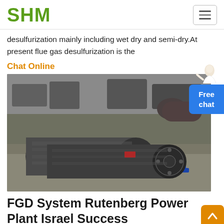SHM
desulfurization mainly including wet dry and semi-dry.At present flue gas desulfurization is the
Chat Online
[Figure (photo): Industrial facility photo showing large metal cylindrical rolls/shafts wrapped in material, sitting on blue steel stands in a factory warehouse setting with various machinery in the background.]
FGD System Rutenberg Power Plant Israel Success
FGD System Rutenberg Power Plant Israel Flue Gas